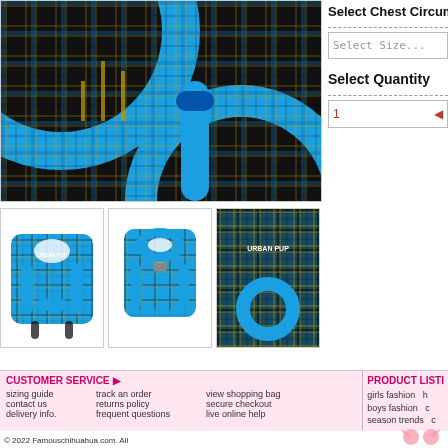[Figure (photo): Close-up photo of a blue plaid dog harness with gold accents and blue leash/collar ring]
[Figure (photo): Thumbnail front view of blue plaid dog harness with URBAN PUP branding]
[Figure (photo): Thumbnail back view of blue plaid dog harness showing buckle]
[Figure (photo): Thumbnail close-up detail of blue plaid dog harness with URBAN PUP text and leash ring]
Select Chest Circumt
Select Size...
Select Quantity
1
CUSTOMER SERVICE ▶
sizing guide
contact us
delivery info.
track an order
returns policy
frequent questions
view shopping bag
secure checkout
live online help
PRODUCT LISTI
girls fashion
boys fashion
season trends
© 2022 Famouschihuahua.com. All